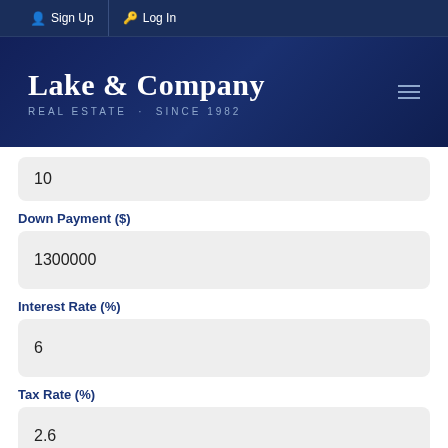Sign Up   Log In
[Figure (logo): Lake & Company Real Estate logo with text 'REAL ESTATE · SINCE 1982' on dark navy background]
10
Down Payment ($)
1300000
Interest Rate (%)
6
Tax Rate (%)
2.6